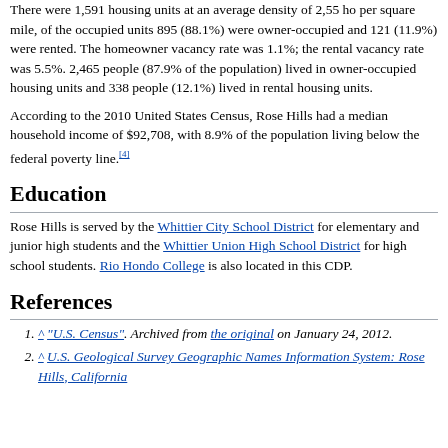There were 1,591 housing units at an average density of 2,55 ho per square mile, of the occupied units 895 (88.1%) were owner-occupied and 121 (11.9%) were rented. The homeowner vacancy rate was 1.1%; the rental vacancy rate was 5.5%. 2,465 people (87.9% of the population) lived in owner-occupied housing units and 338 people (12.1%) lived in rental housing units.
According to the 2010 United States Census, Rose Hills had a median household income of $92,708, with 8.9% of the population living below the federal poverty line.[4]
Education
Rose Hills is served by the Whittier City School District for elementary and junior high students and the Whittier Union High School District for high school students. Rio Hondo College is also located in this CDP.
References
^ "U.S. Census". Archived from the original on January 24, 2012.
^ U.S. Geological Survey Geographic Names Information System: Rose Hills, California